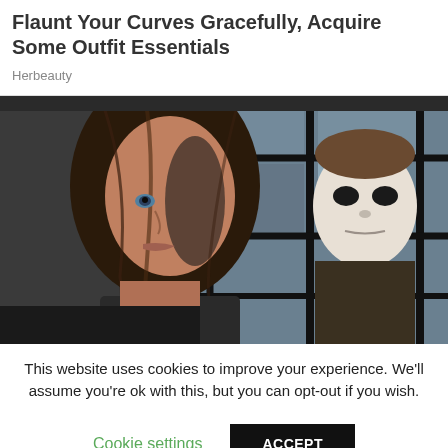Flaunt Your Curves Gracefully, Acquire Some Outfit Essentials
Herbeauty
[Figure (photo): A woman with long brown hair looking intense in the foreground, with a person wearing a white Michael Myers Halloween mask visible through a grid window in the background. Dark, moody, cinematic lighting.]
This website uses cookies to improve your experience. We'll assume you're ok with this, but you can opt-out if you wish.
Cookie settings
ACCEPT